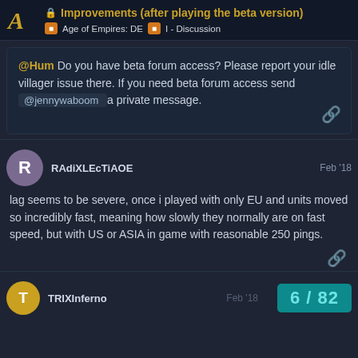🔒 Improvements (after playing the beta version) | Age of Empires: DE | I - Discussion
@Hum Do you have beta forum access? Please report your idle villager issue there. If you need beta forum access send @jennywaboom a private message.
RAdiXLEcTiAOE — Feb '18 — lag seems to be severe, once i played with only EU and units moved so incredibly fast, meaning how slowly they normally are on fast speed, but with US or ASIA in game with reasonable 250 pings.
TRIXInferno — Feb '18 — 6 / 82